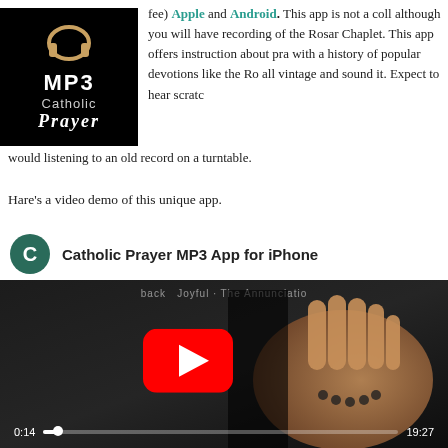[Figure (logo): Catholic Prayer MP3 app logo: black background with headphone icon, 'MP3' in white bold, 'Catholic' in gray, 'Prayer' in italic white serif]
fee) Apple and Android. This app is not a coll although you will have recording of the Rosar Chaplet. This app offers instruction about pra with a history of popular devotions like the Ro all vintage and sound it. Expect to hear scratc would listening to an old record on a turntable.
Hare's a video demo of this unique app.
[Figure (screenshot): YouTube video embed showing 'Catholic Prayer MP3 App for iPhone' with channel icon C on green circle, video thumbnail of praying hands on dark background with red YouTube play button, progress bar showing 0:14 of 19:27, top label reading 'back Joyful - The Annunciatio']